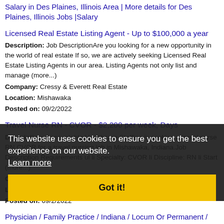Salary in Des Plaines, Illinois Area | More details for Des Plaines, Illinois Jobs |Salary
Licensed Real Estate Listing Agent - Up to $100,000 a year
Description: Job DescriptionAre you looking for a new opportunity in the world of real estate If so, we are actively seeking Licensed Real Estate Listing Agents in our area. Listing Agents not only list and manage (more...)
Company: Cressy & Everett Real Estate
Location: Mishawaka
Posted on: 09/2/2022
Travel Nurse RN - CVOR - $2,200 per week, Days
Description: Accountable Healthcare Staffing is seeking a travel nurse RN CVOR for a travel nursing job in Mishawaka, Indiana.Job Description Requirements ul li Specialty: CVOR li Discipline: RN li Start (more...)
Company: Accountable Healthcare Staffing
Location: Mishawaka
Posted on: 09/2/2022
Physician / Family Practice / Indiana / Locum Or Permanent / Family Practice Job
Description: An excellent full time employment opportunity for a
This website uses cookies to ensure you get the best experience on our website. Learn more   Got it!